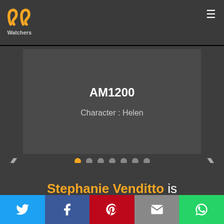PP Watchers
[Figure (screenshot): Slider card showing title AM1200 and Character: Helen with navigation dots and arrows]
Stephanie Venditto is
[Figure (infographic): Social share bar with Twitter, Facebook, Pinterest, Email, and WhatsApp buttons]